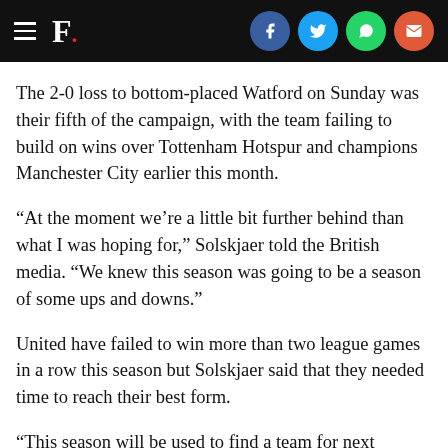F. [social icons: Facebook, Twitter, WhatsApp, Email]
The 2-0 loss to bottom-placed Watford on Sunday was their fifth of the campaign, with the team failing to build on wins over Tottenham Hotspur and champions Manchester City earlier this month.
“At the moment we’re a little bit further behind than what I was hoping for,” Solskjaer told the British media. “We knew this season was going to be a season of some ups and downs.”
United have failed to win more than two league games in a row this season but Solskjaer said that they needed time to reach their best form.
“This season will be used to find a team for next season, but hopefully we can speed this process up by getting more results,” the 46-year-old added.